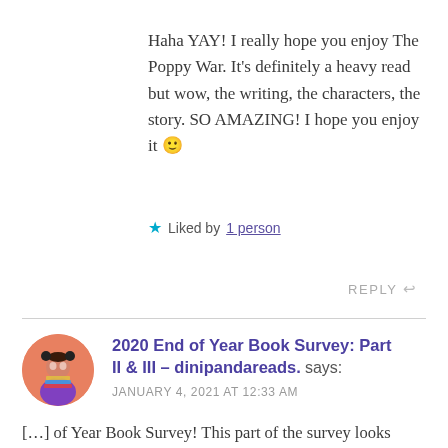Haha YAY! I really hope you enjoy The Poppy War. It's definitely a heavy read but wow, the writing, the characters, the story. SO AMAZING! I hope you enjoy it 🙂
★ Liked by 1 person
REPLY ↩
2020 End of Year Book Survey: Part II & III – dinipandareads. says:
JANUARY 4, 2021 AT 12:33 AM
[…] of Year Book Survey! This part of the survey looks more at blogging and future planning but you can check out part one for my 2020 Stats & 'Best in […]